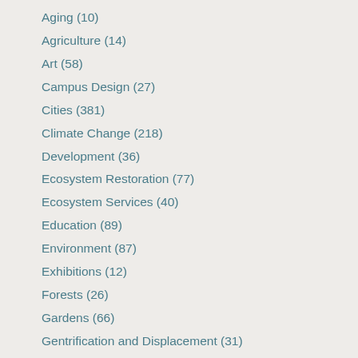Aging (10)
Agriculture (14)
Art (58)
Campus Design (27)
Cities (381)
Climate Change (218)
Development (36)
Ecosystem Restoration (77)
Ecosystem Services (40)
Education (89)
Environment (87)
Exhibitions (12)
Forests (26)
Gardens (66)
Gentrification and Displacement (31)
Green Buildings (17)
Green Infrastructure (107)